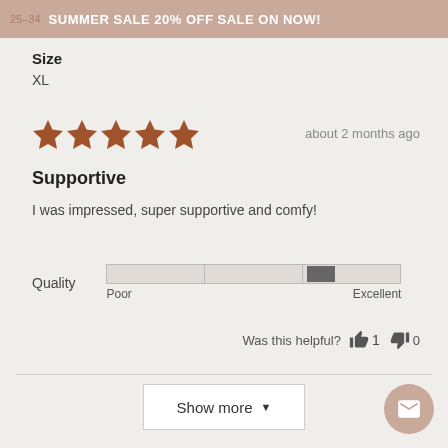SUMMER SALE 20% OFF SALE ON NOW!
Size
XL
[Figure (other): Five brown star rating icons indicating 5 out of 5 stars]
about 2 months ago
Supportive
I was impressed, super supportive and comfy!
[Figure (other): Quality slider bar showing rating closer to Excellent end, with Poor and Excellent labels]
Was this helpful? 1 0
Show more
[Figure (other): Email/message circular button icon in bottom right corner]